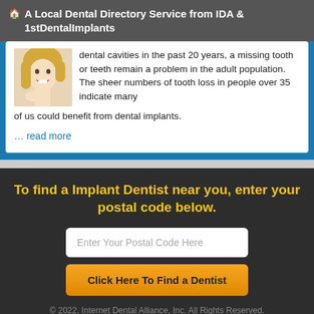🏠 A Local Dental Directory Service from IDA & 1stDentalImplants
dental cavities in the past 20 years, a missing tooth or teeth remain a problem in the adult population. The sheer numbers of tooth loss in people over 35 indicate many of us could benefit from dental implants.
… read more
To find a Implant Dentist near you, enter your postal code below.
Enter Your Postal Code Here
Click Here To Find a Dentist
© 2022, Internet Dental Alliance, Inc. All Rights Reserved.